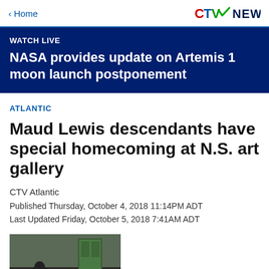< Home | CTV NEWS
WATCH LIVE
NASA provides update on Artemis 1 moon launch postponement
ATLANTIC
Maud Lewis descendants have special homecoming at N.S. art gallery
CTV Atlantic
Published Thursday, October 4, 2018 11:14PM ADT
Last Updated Friday, October 5, 2018 7:41AM ADT
[Figure (photo): A person standing near a doorway, dark-toned photograph]